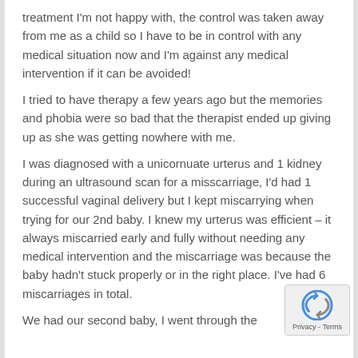treatment I'm not happy with, the control was taken away from me as a child so I have to be in control with any medical situation now and I'm against any medical intervention if it can be avoided!
I tried to have therapy a few years ago but the memories and phobia were so bad that the therapist ended up giving up as she was getting nowhere with me.
I was diagnosed with a unicornuate urterus and 1 kidney during an ultrasound scan for a misscarriage, I'd had 1 successful vaginal delivery but I kept miscarrying when trying for our 2nd baby. I knew my urterus was efficient – it always miscarried early and fully without needing any medical intervention and the miscarriage was because the baby hadn't stuck properly or in the right place. I've had 6 miscarriages in total.
We had our second baby, I went through the